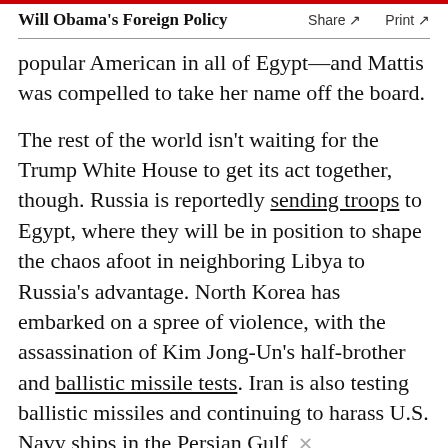Will Obama's Foreign Policy  Share ↗  Print ↗
popular American in all of Egypt—and Mattis was compelled to take her name off the board.
The rest of the world isn't waiting for the Trump White House to get its act together, though. Russia is reportedly sending troops to Egypt, where they will be in position to shape the chaos afoot in neighboring Libya to Russia's advantage. North Korea has embarked on a spree of violence, with the assassination of Kim Jong-Un's half-brother and ballistic missile tests. Iran is also testing ballistic missiles and continuing to harass U.S. Navy ships in the Persian Gulf,